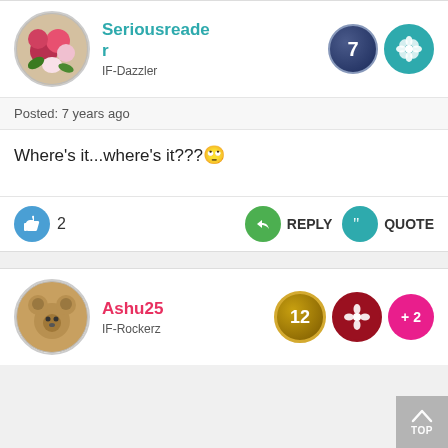Seriousreader
IF-Dazzler
Posted: 7 years ago
Where's it...where's it???🙄
2  REPLY  QUOTE
Ashu25
IF-Rockerz